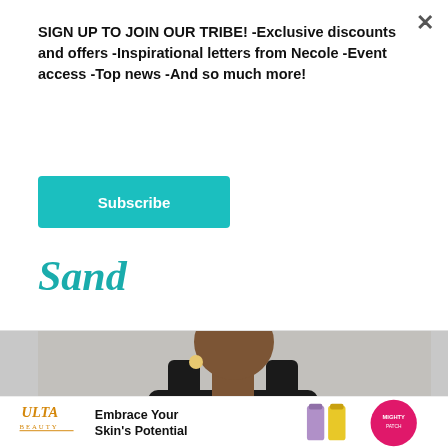SIGN UP TO JOIN OUR TRIBE! -Exclusive discounts and offers -Inspirational letters from Necole -Event access -Top news -And so much more!
Subscribe
Sand
[Figure (photo): A Black woman wearing a black crop top and beige high-waisted pants, photographed against a light gray background]
[Figure (infographic): Ulta Beauty advertisement banner: 'Embrace Your Skin's Potential' with product images]